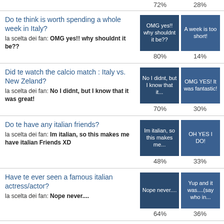72%   28%
Do te think is worth spending a whole week in Italy?
la scelta dei fan: OMG yes!! why shouldnt it be??
Choices: OMG yes!! why shouldnt it be?? | A week is too short!
80%   14%
Did te watch the calcio match : Italy vs. New Zeland?
la scelta dei fan: No I didnt, but I know that it was great!
Choices: No I didnt, but I know that it... | OMG YES! It was fantastic!
70%   30%
Do te have any italian friends?
la scelta dei fan: Im italian, so this makes me have italian Friends XD
Choices: Im italian, so this makes me... | OH YES I DO!
48%   33%
Have te ever seen a famous italian actress/actor?
la scelta dei fan: Nope never....
Choices: Nope never.... | Yup and it was....(say who in...
64%   36%
What si the national anthem of